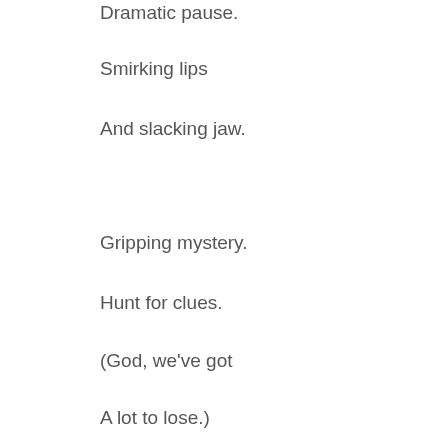Dramatic pause.
Smirking lips
And slacking jaw.
Gripping mystery.
Hunt for clues.
(God, we've got
A lot to lose.)
Open question.
Open mind.